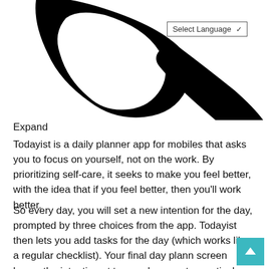[Figure (logo): Partial black logo/icon visible at top of page — appears to be a stylized letter or symbol with curved strokes in black]
Select Language
Expand
Todayist is a daily planner app for mobiles that asks you to focus on yourself, not on the work. By prioritizing self-care, it seeks to make you feel better, with the idea that if you feel better, then you'll work better.
So every day, you will set a new intention for the day, prompted by three choices from the app. Todayist then lets you add tasks for the day (which works like a regular checklist). Your final day plann screen keeps the intention at top, and suggests practical ways stick to it.